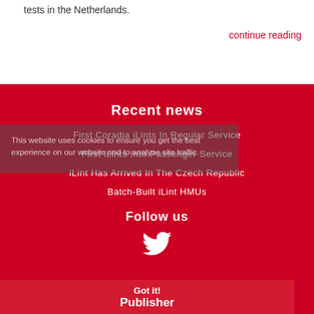tests in the Netherlands.
continue reading
Recent news
First Coradia iLints In Regular Service
First iLints Into Passenger Service
iLint Has Arrived In The Czech Republic
Batch-Built iLint HMUs
Follow us
[Figure (illustration): Twitter bird icon in white]
This website uses cookies to ensure you get the best experience on our website and to analyse site traffic.
Got it!
Publisher